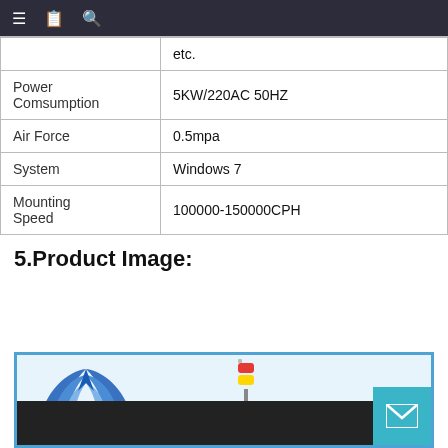| Property | Value |
| --- | --- |
|  | etc. |
| Power Comsumption | 5KW/220AC 50HZ |
| Air Force | 0.5mpa |
| System | Windows 7 |
| Mounting Speed | 100000-150000CPH |
5.Product Image:
[Figure (photo): Product image showing ETON SMT machine with signal tower light and ETON logo branding]